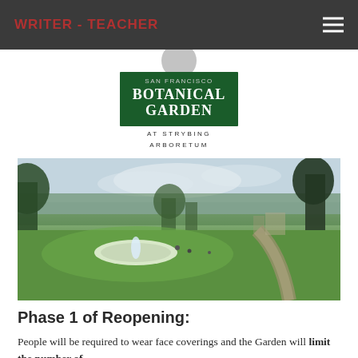WRITER - TEACHER
[Figure (logo): San Francisco Botanical Garden at Strybing Arboretum logo — green rectangle with white text 'BOTANICAL GARDEN' and serif text 'AT STRYBING ARBORETUM' below]
[Figure (photo): Outdoor photo of San Francisco Botanical Garden showing a wide green lawn, a circular fountain in the middle distance, large trees in the background, a pathway to the right, and an overcast sky]
Phase 1 of Reopening:
People will be required to wear face coverings and the Garden will limit the number of